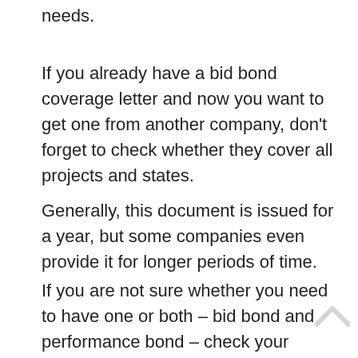needs.
If you already have a bid bond coverage letter and now you want to get one from another company, don't forget to check whether they cover all projects and states.
Generally, this document is issued for a year, but some companies even provide it for longer periods of time.
If you are not sure whether you need to have one or both – bid bond and performance bond – check your prequalification package. There will be information on the project's requirements. If none of them require a bond coverage letter, then you can order it